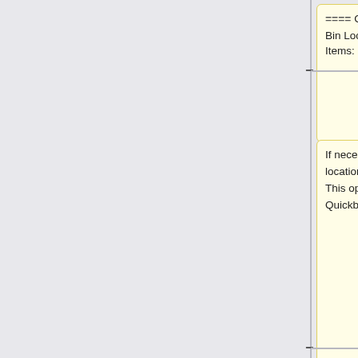==== Changing Bin Location for Items: ====
<br>
If necessary, you can change the bin location for items on the Sales Receipt. This option is available if your Quickbooks has Advanced Inventory.
{{Gototop}}
<br>
== [[File:tabletandroid.png | 36px]] Changing Bin